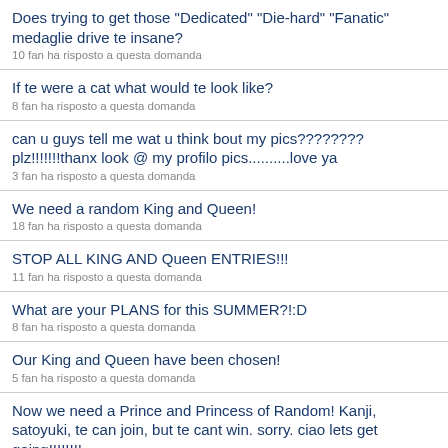Does trying to get those "Dedicated" "Die-hard" "Fanatic" medaglie drive te insane?
10 fan ha risposto a questa domanda
If te were a cat what would te look like?
8 fan ha risposto a questa domanda
can u guys tell me wat u think bout my pics???????? plz!!!!!!!thanx look @ my profilo pics..........love ya
3 fan ha risposto a questa domanda
We need a random King and Queen!
18 fan ha risposto a questa domanda
STOP ALL KING AND Queen ENTRIES!!!
11 fan ha risposto a questa domanda
What are your PLANS for this SUMMER?!:D
8 fan ha risposto a questa domanda
Our King and Queen have been chosen!
5 fan ha risposto a questa domanda
Now we need a Prince and Princess of Random! Kanji, satoyuki, te can join, but te cant win. sorry. ciao lets get going!!!!!!!!
7 fan ha risposto a questa domanda